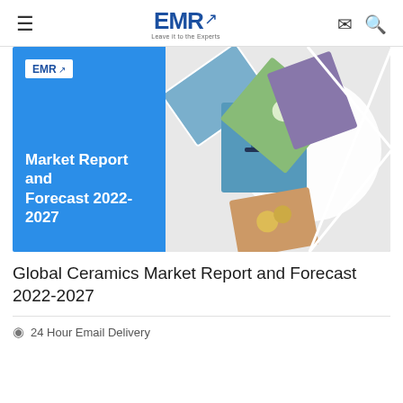EMR — Leave it to the Experts
[Figure (photo): Market Report and Forecast 2022-2027 report cover showing EMR logo on blue background with collage of industry photos on the right]
Global Ceramics Market Report and Forecast 2022-2027
24 Hour Email Delivery